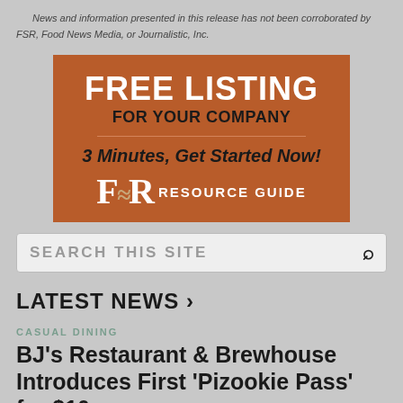News and information presented in this release has not been corroborated by FSR, Food News Media, or Journalistic, Inc.
[Figure (advertisement): Orange FSR Resource Guide advertisement banner. Text reads: FREE LISTING FOR YOUR COMPANY / 3 Minutes, Get Started Now! / FSR RESOURCE GUIDE]
SEARCH THIS SITE
LATEST NEWS >
CASUAL DINING
BJ's Restaurant & Brewhouse Introduces First 'Pizookie Pass' for $10